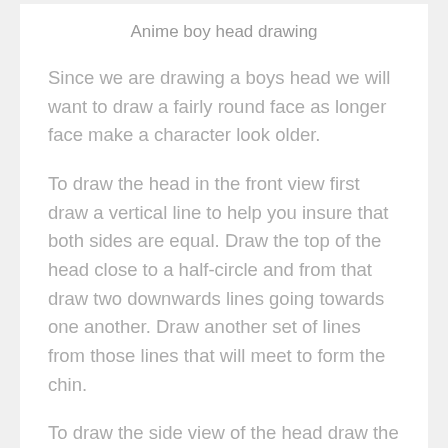Anime boy head drawing
Since we are drawing a boys head we will want to draw a fairly round face as longer face make a character look older.
To draw the head in the front view first draw a vertical line to help you insure that both sides are equal. Draw the top of the head close to a half-circle and from that draw two downwards lines going towards one another. Draw another set of lines from those lines that will meet to form the chin.
To draw the side view of the head draw the top of the head close to an oval in shape and then draw